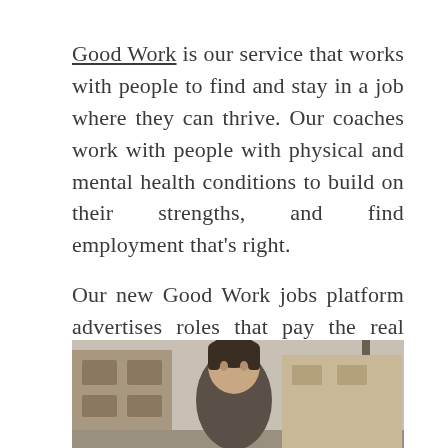Good Work is our service that works with people to find and stay in a job where they can thrive. Our coaches work with people with physical and mental health conditions to build on their strengths, and find employment that's right.
Our new Good Work jobs platform advertises roles that pay the real Living Wage and offer consistent hours.
[Figure (photo): Photo of a person with dark hair outdoors on a street, with stone buildings and a pole visible in the background.]